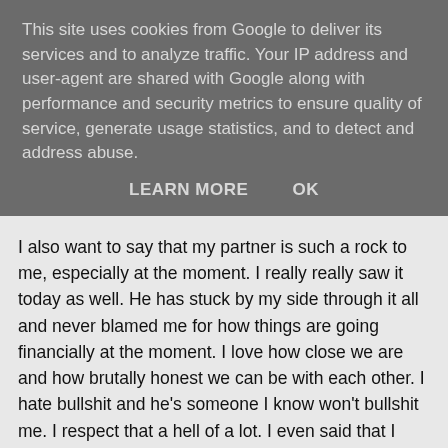This site uses cookies from Google to deliver its services and to analyze traffic. Your IP address and user-agent are shared with Google along with performance and security metrics to ensure quality of service, generate usage statistics, and to detect and address abuse.
LEARN MORE    OK
I also want to say that my partner is such a rock to me, especially at the moment. I really really saw it today as well. He has stuck by my side through it all and never blamed me for how things are going financially at the moment. I love how close we are and how brutally honest we can be with each other. I hate bullshit and he's someone I know won't bullshit me. I respect that a hell of a lot. I even said that I would understand if he couldn't take this anymore because sometimes I feel I really am intolerable and I worry that one day I'll push him too far away. It makes me so happy that he's sticking by me though. I can't be all that bad then ;)
Ok I'll leave it here for now but to everyone who is there for